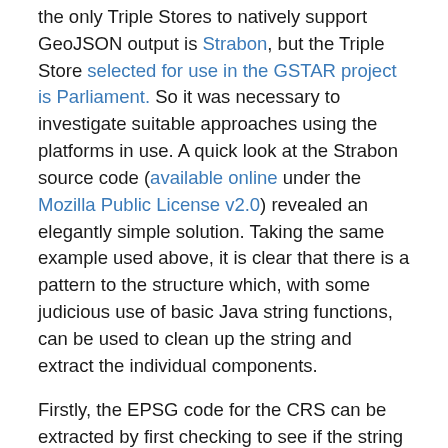the only Triple Stores to natively support GeoJSON output is Strabon, but the Triple Store selected for use in the GSTAR project is Parliament. So it was necessary to investigate suitable approaches using the platforms in use. A quick look at the Strabon source code (available online under the Mozilla Public License v2.0) revealed an elegantly simple solution. Taking the same example used above, it is clear that there is a pattern to the structure which, with some judicious use of basic Java string functions, can be used to clean up the string and extract the individual components.
Firstly, the EPSG code for the CRS can be extracted by first checking to see if the string begins with a < character, indicating there is a URI present. If so, the EPSG code will be the last element of the URI, appended to the base URI for the namespace. Secondly, the WKT serialisation itself will follow the closing > for the CRS URI tag. These marker characters can be used to indicate and found at string end...